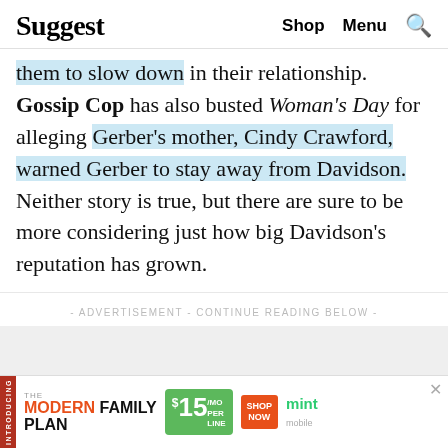Suggest   Shop   Menu
them to slow down in their relationship. Gossip Cop has also busted Woman's Day for alleging Gerber's mother, Cindy Crawford, warned Gerber to stay away from Davidson. Neither story is true, but there are sure to be more considering just how big Davidson's reputation has grown.
- ADVERTISEMENT - CONTINUE READING BELOW -
[Figure (other): Mint Mobile advertisement banner: 'THE MODERN FAMILY PLAN FROM $15/MO PER LINE SHOP NOW']